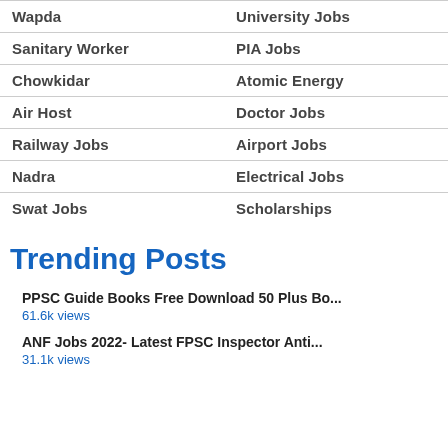| Wapda | University Jobs |
| Sanitary Worker | PIA Jobs |
| Chowkidar | Atomic Energy |
| Air Host | Doctor Jobs |
| Railway Jobs | Airport Jobs |
| Nadra | Electrical Jobs |
| Swat Jobs | Scholarships |
Trending Posts
PPSC Guide Books Free Download 50 Plus Bo...
61.6k views
ANF Jobs 2022- Latest FPSC Inspector Anti...
31.1k views